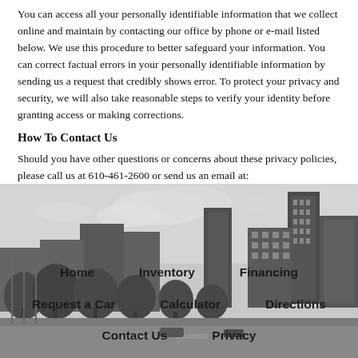You can access all your personally identifiable information that we collect online and maintain by contacting our office by phone or e-mail listed below. We use this procedure to better safeguard your information. You can correct factual errors in your personally identifiable information by sending us a request that credibly shows error. To protect your privacy and security, we will also take reasonable steps to verify your identity before granting access or making corrections.
How To Contact Us
Should you have other questions or concerns about these privacy policies, please call us at 610-461-2600 or send us an email at: sales@chesterpikeautosales.com.
[Figure (photo): Grayscale city skyline photo with tall buildings, trees, and overcast sky serving as background for navigation links]
Home | Inventory | Financing | Request a Car | Calculator | Directions | Contact Us | Privacy